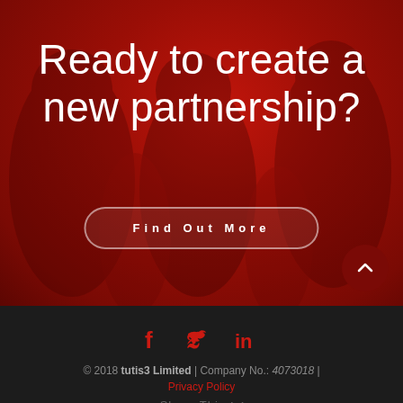[Figure (photo): Red-tinted photo background with group of people, overlaid with large white text and a button]
Ready to create a new partnership?
Find Out More
[Figure (infographic): Dark circular scroll-up button with upward chevron arrow, positioned bottom-right of hero section]
© 2018 tutis3 Limited | Company No.: 4073018 | Privacy Policy